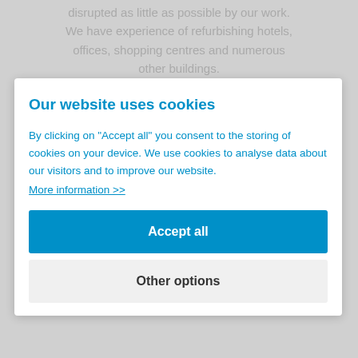disrupted as little as possible by our work. We have experience of refurbishing hotels, offices, shopping centres and numerous other buildings.
Our website uses cookies
By clicking on “Accept all” you consent to the storing of cookies on your device. We use cookies to analyse data about our visitors and to improve our website.
More information >>
Accept all
Other options